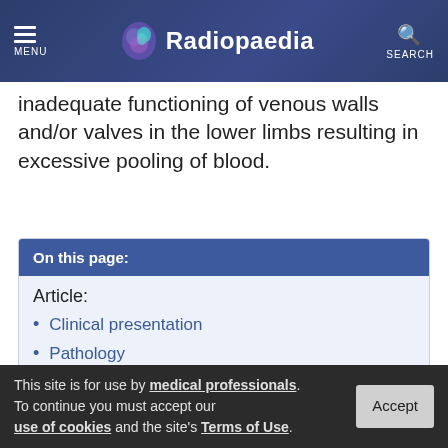Radiopaedia
inadequate functioning of venous walls and/or valves in the lower limbs resulting in excessive pooling of blood.
On this page:
Article:
Clinical presentation
Pathology
Radiographic features
Complications
This site is for use by medical professionals. To continue you must accept our use of cookies and the site's Terms of Use.